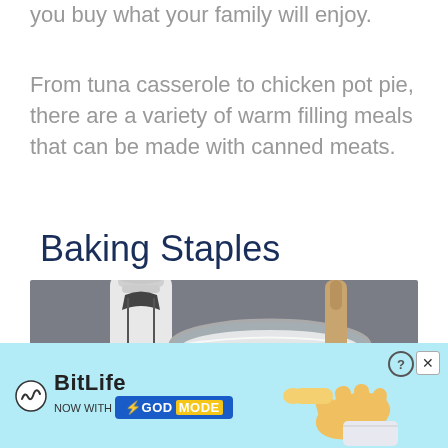you buy what your family will enjoy.
From tuna casserole to chicken pot pie, there are a variety of warm filling meals that can be made with canned meats.
Baking Staples
[Figure (photo): A glass jar with a swing-top lid open, containing white powder (likely flour or sugar) with a wooden spoon or utensil, next to a white bottle/container, set against a gray background — baking staples.]
[Figure (screenshot): BitLife advertisement banner: 'NOW WITH GOD MODE' on light blue background with cartoon hand pointing, BitLife logo, close and help buttons.]